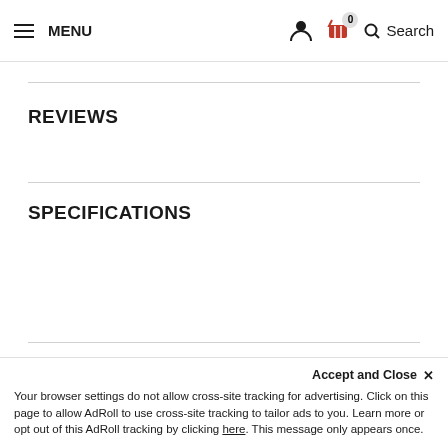MENU  [person icon] [basket icon] 0  Search
REVIEWS
SPECIFICATIONS
YOU MAY ALSO BE INTERESTED IN THE FOLLOWING PRODUCT(S)
Accept and Close ×
Your browser settings do not allow cross-site tracking for advertising. Click on this page to allow AdRoll to use cross-site tracking to tailor ads to you. Learn more or opt out of this AdRoll tracking by clicking here. This message only appears once.